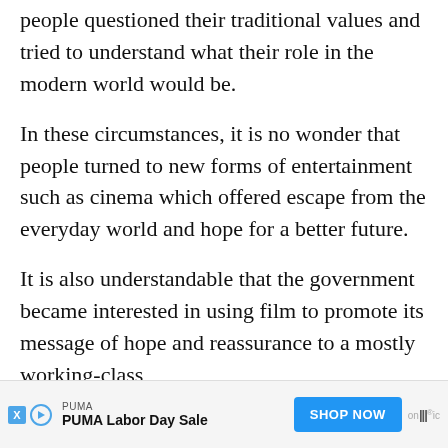people questioned their traditional values and tried to understand what their role in the modern world would be.
In these circumstances, it is no wonder that people turned to new forms of entertainment such as cinema which offered escape from the everyday world and hope for a better future.
It is also understandable that the government became interested in using film to promote its message of hope and reassurance to a mostly working-class a…
[Figure (other): Advertisement banner for PUMA Labor Day Sale with a blue 'SHOP NOW' button and ad icons]